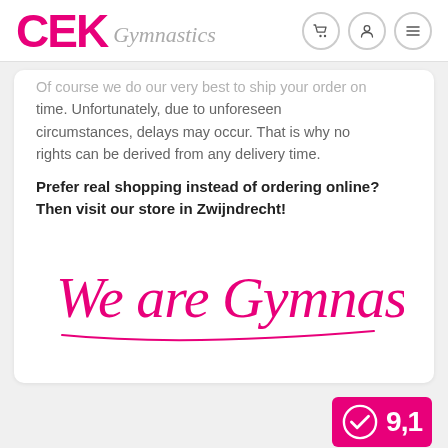CEK Gymnastics
Of course we do our very best to ship your order on time. Unfortunately, due to unforeseen circumstances, delays may occur. That is why no rights can be derived from any delivery time.
Prefer real shopping instead of ordering online? Then visit our store in Zwijndrecht!
[Figure (illustration): Cursive pink script text reading 'We are Gymnastics!' with a pink underline stroke]
[Figure (logo): CEK Gymnastics rating badge showing a checkmark circle icon and the number 9,1 on a pink background]